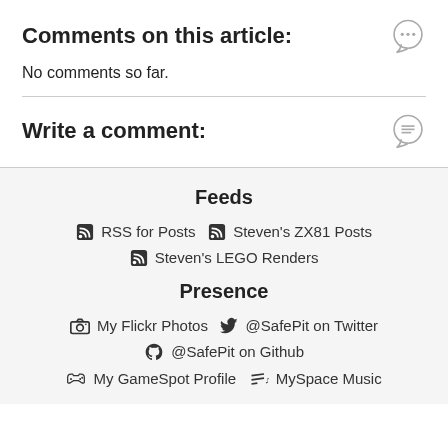Comments on this article:
No comments so far.
Write a comment:
Feeds
RSS for Posts
Steven's ZX81 Posts
Steven's LEGO Renders
Presence
My Flickr Photos
@SafePit on Twitter
@SafePit on Github
My GameSpot Profile
MySpace Music